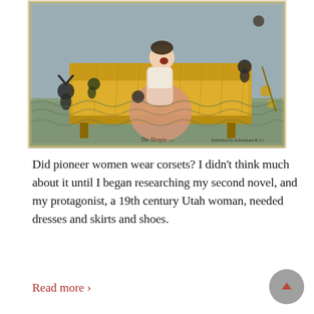[Figure (illustration): A historical colored illustration (caricature/etching) depicting a woman in 19th-century clothing sitting on a yellow sofa/settee, surrounded by small imp-like figures. The woman has her mouth open and appears distressed. Small devil figures pull at her clothing. Text at the bottom reads 'The Henpie' and a publisher's line. The illustration is framed with a light border.]
Did pioneer women wear corsets? I didn't think much about it until I began researching my second novel, and my protagonist, a 19th century Utah woman, needed dresses and skirts and shoes.
Read more ›